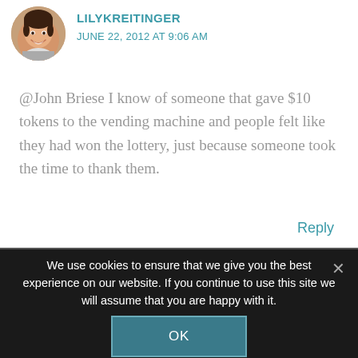[Figure (photo): Circular avatar photo of a smiling woman with dark hair]
LILYKREITINGER
JUNE 22, 2012 AT 9:06 AM
@John Briese I know of someone that gave $10 tokens to the vending machine and people felt like they had won the lottery, just because someone took the time to thank them.
Reply
We use cookies to ensure that we give you the best experience on our website. If you continue to use this site we will assume that you are happy with it.
OK